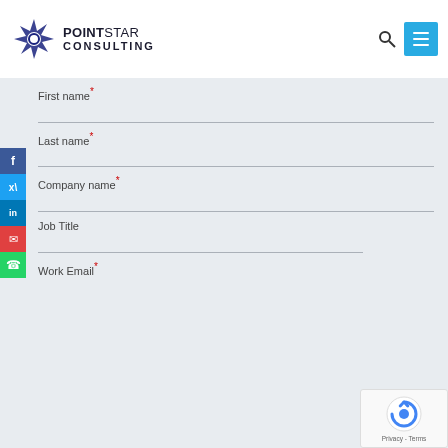[Figure (logo): PointStar Consulting logo with star icon and company name]
First name*
Last name*
Company name*
Job Title
Work Email*